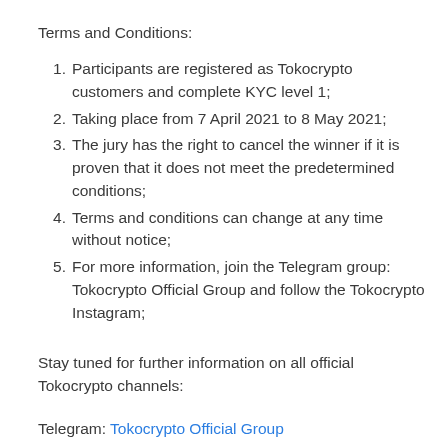Terms and Conditions:
Participants are registered as Tokocrypto customers and complete KYC level 1;
Taking place from 7 April 2021 to 8 May 2021;
The jury has the right to cancel the winner if it is proven that it does not meet the predetermined conditions;
Terms and conditions can change at any time without notice;
For more information, join the Telegram group: Tokocrypto Official Group and follow the Tokocrypto Instagram;
Stay tuned for further information on all official Tokocrypto channels:
Telegram: Tokocrypto Official Group